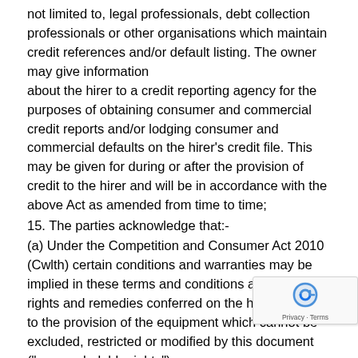not limited to, legal professionals, debt collection professionals or other organisations which maintain credit references and/or default listing. The owner may give information about the hirer to a credit reporting agency for the purposes of obtaining consumer and commercial credit reports and/or lodging consumer and commercial defaults on the hirer's credit file. This may be given for during or after the provision of credit to the hirer and will be in accordance with the above Act as amended from time to time;
15. The parties acknowledge that:-
(a) Under the Competition and Consumer Act 2010 (Cwlth) certain conditions and warranties may be implied in these terms and conditions and there are rights and remedies conferred on the hirer in relation to the provision of the equipment which cannot be excluded, restricted or modified by this document ("non-excludable rights");
(b) The owner disclaims all conditions and warranties expressed or implied, and all rights and remedies conferred on the hirer by statute, common law, equity, trade custom usage otherwise and all those conditions and warranties and all those rights and remedies are excluded other than any non-excludable rights. To the extent permitted by the Act, the